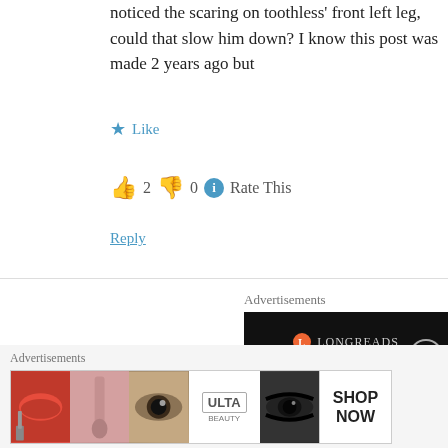noticed the scaring on toothless' front left leg, could that slow him down? I know this post was made 2 years ago but
★ Like
👍 2 👎 0 ℹ Rate This
Reply
Advertisements
[Figure (screenshot): Longreads advertisement on black background with text 'Read anything great lately?']
[Figure (illustration): Blue power button avatar icon for user K AWESOME]
K AWESOME says:
October 8, 2014 at 11:07 pm
Advertisements
[Figure (screenshot): ULTA beauty advertisement banner showing lips, makeup brush, eye, ULTA logo, eye, with SHOP NOW call to action]